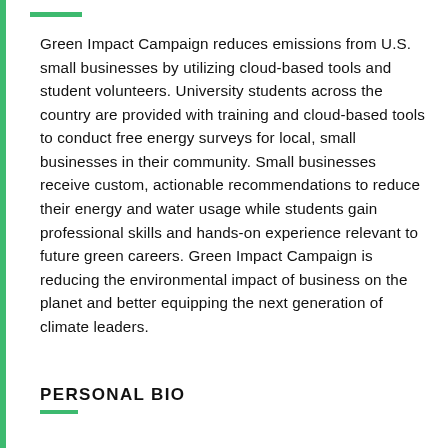Green Impact Campaign reduces emissions from U.S. small businesses by utilizing cloud-based tools and student volunteers. University students across the country are provided with training and cloud-based tools to conduct free energy surveys for local, small businesses in their community. Small businesses receive custom, actionable recommendations to reduce their energy and water usage while students gain professional skills and hands-on experience relevant to future green careers. Green Impact Campaign is reducing the environmental impact of business on the planet and better equipping the next generation of climate leaders.
PERSONAL BIO